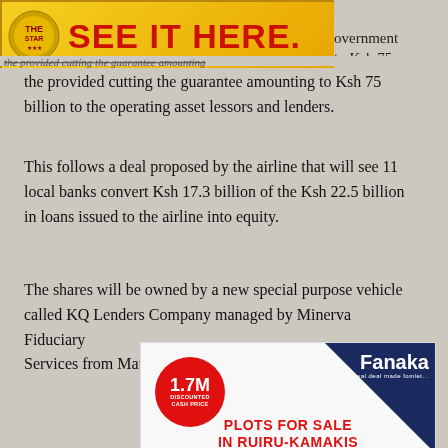[Figure (advertisement): Yellow banner ad with red circle logo and 'SEE IT HERE.' text in large red bold letters. Right side shows partial text 'overnment' and 'to Ksh 75']
the provided cutting the guarantee amounting to Ksh 75 billion to the operating asset lessors and lenders.
This follows a deal proposed by the airline that will see 11 local banks convert Ksh 17.3 billion of the Ksh 22.5 billion in loans issued to the airline into equity.
The shares will be owned by a new special purpose vehicle called KQ Lenders Company managed by Minerva Fiduciary Services from Mauritius.
[Figure (advertisement): Fanaka real estate ad with white background, dark blue triangle in top right, red circle with '1.7M DISCOUNTED CASH PRICE', and red bold text 'PLOTS FOR SALE IN RUIRU-KAMAKIS']